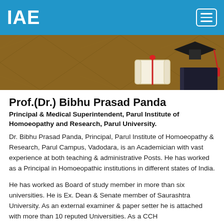IAE
[Figure (photo): Banner photo showing a graduation cap and diploma scroll on a wooden surface]
Prof.(Dr.) Bibhu Prasad Panda
Principal & Medical Superintendent, Parul Institute of Homoeopathy and Research, Parul University.
Dr. Bibhu Prasad Panda, Principal, Parul Institute of Homoeopathy & Research, Parul Campus, Vadodara, is an Academician with vast experience at both teaching & administrative Posts. He has worked as a Principal in Homoeopathic institutions in different states of India.
He has worked as Board of study member in more than six universities. He is Ex. Dean & Senate member of Saurashtra University. As an external examiner & paper setter he is attached with more than 10 reputed Universities. As a CCH